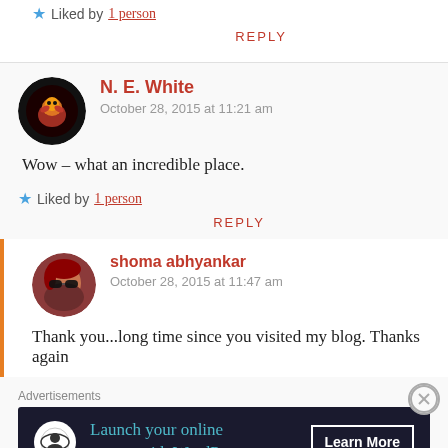Liked by 1 person
REPLY
N. E. White
October 28, 2015 at 11:21 am
Wow – what an incredible place.
Liked by 1 person
REPLY
shoma abhyankar
October 28, 2015 at 11:47 am
Thank you...long time since you visited my blog. Thanks again
Advertisements
Launch your online course with WordPress
Learn More